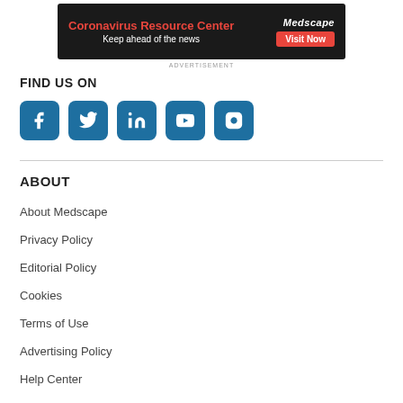[Figure (screenshot): Medscape Coronavirus Resource Center advertisement banner with red title text, dark background, and red Visit Now button]
ADVERTISEMENT
FIND US ON
[Figure (infographic): Row of 5 social media icons: Facebook, Twitter, LinkedIn, YouTube, Instagram — all in teal/blue square rounded buttons]
ABOUT
About Medscape
Privacy Policy
Editorial Policy
Cookies
Terms of Use
Advertising Policy
Help Center